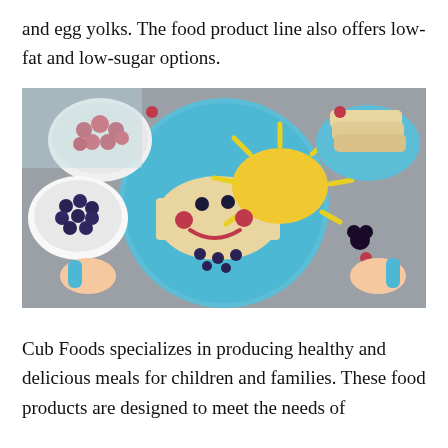and egg yolks. The food product line also offers low-fat and low-sugar options.
[Figure (photo): Overhead view of a child's creative meal on a blue plate featuring a bread slice shaped into a smiley face with blueberry eyes, raspberry cheeks and a red smile, topped with a yellow cheese sun with strip rays. Bowls of raspberries and blueberries are visible, along with toast slices on a plate, scattered berries on a grey surface, and children's hands holding blue utensils.]
Cub Foods specializes in producing healthy and delicious meals for children and families. These food products are designed to meet the needs of